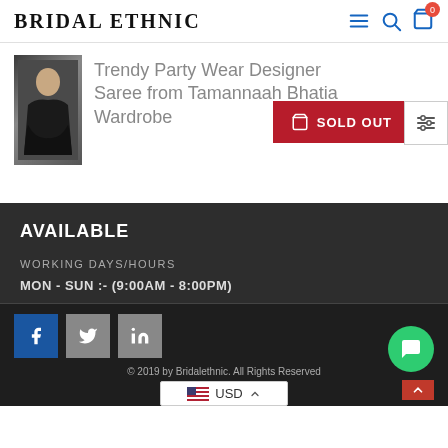BRIDAL ETHNIC
Trendy Party Wear Designer Saree from Tamannaah Bhatia Wardrobe
[Figure (photo): Small thumbnail of a woman in a black designer saree]
SOLD OUT
AVAILABLE
WORKING DAYS/HOURS
MON - SUN :- (9:00AM - 8:00PM)
© 2019 by Bridalethnic. All Rights Reserved